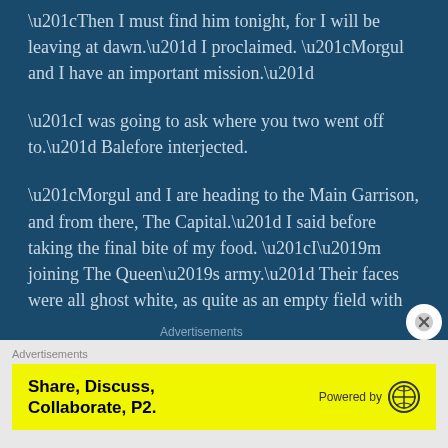“Then I must find him tonight, for I will be leaving at dawn.” I proclaimed. “Morgul and I have an important mission.”
“I was going to ask where you two went off to.” Balefore interjected.
“Morgul and I are heading to the Main Garrison, and from there, The Capital.” I said before taking the final bite of my food. “I’m joining The Queen’s army.” Their faces were all ghost white, as quite as an empty field with not even a breeze blowing through it.
Advertisements
[Figure (other): Advertisement banner: yellow background with bold text 'Share, Discuss, Collaborate, P2.' on the left, and 'Powered by' with WordPress logo on the right.]